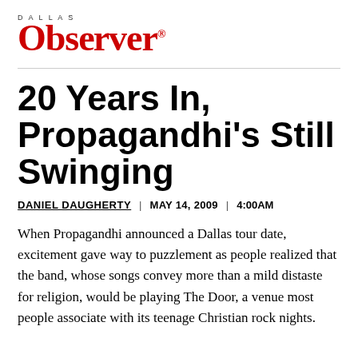Dallas Observer
20 Years In, Propagandhi's Still Swinging
DANIEL DAUGHERTY | MAY 14, 2009 | 4:00AM
When Propagandhi announced a Dallas tour date, excitement gave way to puzzlement as people realized that the band, whose songs convey more than a mild distaste for religion, would be playing The Door, a venue most people associate with its teenage Christian rock nights.